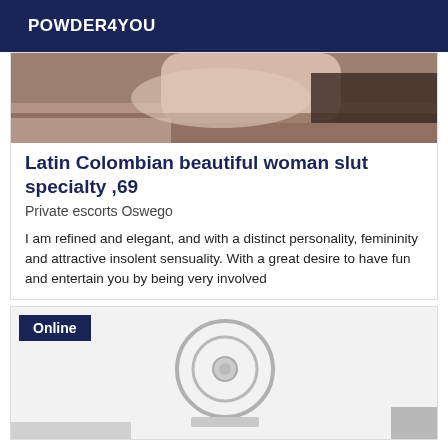POWDER4YOU
[Figure (photo): Partial photo of a person lying down, dark tones]
Latin Colombian beautiful woman slut specialty ,69
Private escorts Oswego
I am refined and elegant, and with a distinct personality, femininity and attractive insolent sensuality. With a great desire to have fun and entertain you by being very involved
[Figure (photo): Black and white photo showing a circular fan or mirror on a light background, with Online badge overlay]